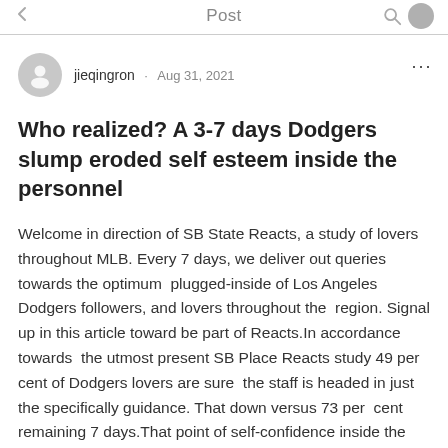Post
jieqingron · Aug 31, 2021
Who realized? A 3-7 days Dodgers slump eroded self esteem inside the personnel
Welcome in direction of SB State Reacts, a study of lovers  throughout MLB. Every 7 days, we deliver out queries towards the optimum  plugged-inside of Los Angeles Dodgers followers, and lovers throughout the  region. Signal up in this article toward be part of Reacts.In accordance towards  the utmost present SB Place Reacts study 49 per cent of Dodgers lovers are sure  the staff is headed in just the specifically guidance. That down versus 73 per  cent remaining 7 days.That point of self-confidence inside the workers at  present